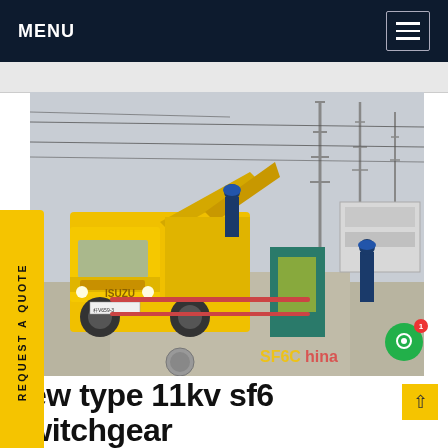MENU
[Figure (photo): Yellow ISUZU truck with open compartments at an electrical substation, workers in blue helmets and coveralls visible, high-voltage transmission towers and switchgear equipment in background, SF6China watermark in bottom right]
REQUEST A QUOTE
new type 11kv sf6 switchgear